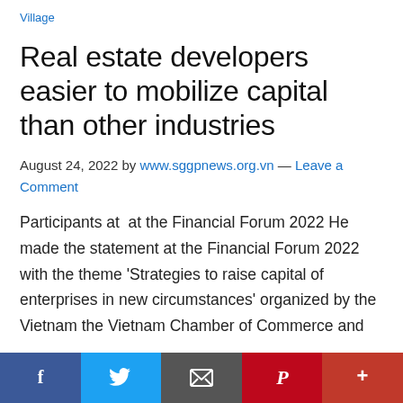Village
Real estate developers easier to mobilize capital than other industries
August 24, 2022 by www.sggpnews.org.vn — Leave a Comment
Participants at  at the Financial Forum 2022 He made the statement at the Financial Forum 2022 with the theme ‘Strategies to raise capital of enterprises in new circumstances’ organized by the Vietnam the Vietnam Chamber of Commerce and
[Figure (other): Social sharing bar with Facebook, Twitter, Email, Pinterest, and More buttons]